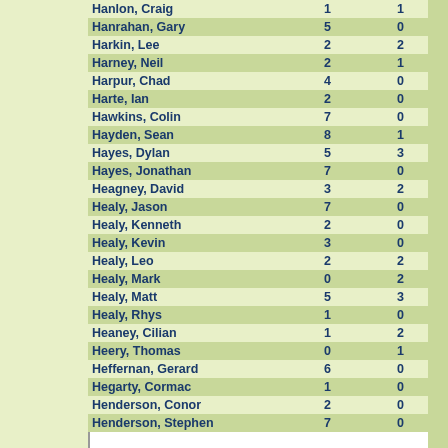| Name | Col1 | Col2 |  |
| --- | --- | --- | --- |
| Hanlon, Craig | 1 | 1 |  |
| Hanrahan, Gary | 5 | 0 |  |
| Harkin, Lee | 2 | 2 |  |
| Harney, Neil | 2 | 1 |  |
| Harpur, Chad | 4 | 0 |  |
| Harte, Ian | 2 | 0 |  |
| Hawkins, Colin | 7 | 0 |  |
| Hayden, Sean | 8 | 1 |  |
| Hayes, Dylan | 5 | 3 |  |
| Hayes, Jonathan | 7 | 0 |  |
| Heagney, David | 3 | 2 |  |
| Healy, Jason | 7 | 0 |  |
| Healy, Kenneth | 2 | 0 |  |
| Healy, Kevin | 3 | 0 |  |
| Healy, Leo | 2 | 2 |  |
| Healy, Mark | 0 | 2 |  |
| Healy, Matt | 5 | 3 |  |
| Healy, Rhys | 1 | 0 |  |
| Heaney, Cilian | 1 | 2 |  |
| Heery, Thomas | 0 | 1 |  |
| Heffernan, Gerard | 6 | 0 |  |
| Hegarty, Cormac | 1 | 0 |  |
| Henderson, Conor | 2 | 0 |  |
| Henderson, Stephen | 7 | 0 |  |